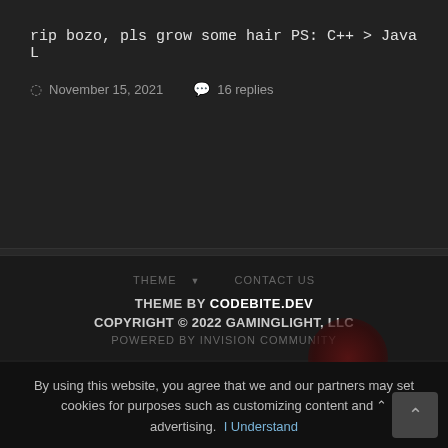rip bozo, pls grow some hair PS: C++ > Java L
November 15, 2021   16 replies
THEME ▼   CONTACT US
THEME BY CODEBITE.DEV
COPYRIGHT © 2022 GAMINGLIGHT, LLC
POWERED BY INVISION COMMUNITY
By using this website, you agree that we and our partners may set cookies for purposes such as customizing content and advertising.  I Understand